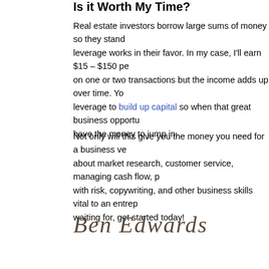Is it Worth My Time?
Real estate investors borrow large sums of money so they stand... leverage works in their favor. In my case, I'll earn $15 – $150 pe... on one or two transactions but the income adds up over time. Yo... leverage to build up capital so when that great business opportu... have the money to jump in.
Not only will this give you the money you need for a business ve... about market research, customer service, managing cash flow, p... with risk, copywriting, and other business skills vital to an entrep... waiting for, get started today!
[Figure (illustration): Handwritten cursive signature reading 'Ben Edwards']
Will this article help you save or earn more money? Get o... entering your email address below. Your email is used only... money tips and you can opt out of delivery at any time. Clic... free subscription options.
Ben Edwards, the founder of Money Smart Li...